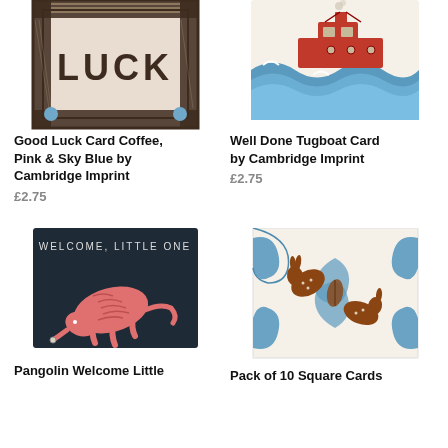[Figure (photo): Good Luck Card with 'LUCK' text in decorative frame, coffee, pink and sky blue colors by Cambridge Imprint]
Good Luck Card Coffee, Pink & Sky Blue by Cambridge Imprint
£2.75
[Figure (photo): Well Done Tugboat Card showing a red tugboat on blue waves by Cambridge Imprint]
Well Done Tugboat Card by Cambridge Imprint
£2.75
[Figure (photo): Welcome Little One card with pangolin illustration on dark background]
Pangolin Welcome Little
[Figure (photo): Pack of 10 Square Cards with decorative hares/rabbits and foliage in brown and teal]
Pack of 10 Square Cards